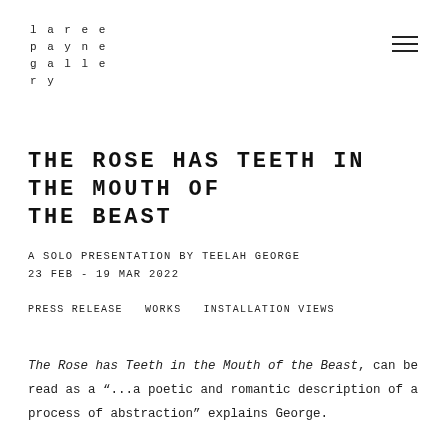laree payne galle ry
THE ROSE HAS TEETH IN THE MOUTH OF THE BEAST
A SOLO PRESENTATION BY TEELAH GEORGE
23 FEB - 19 MAR 2022
PRESS RELEASE    WORKS    INSTALLATION VIEWS
The Rose has Teeth in the Mouth of the Beast, can be read as a "...a poetic and romantic description of a process of abstraction" explains George.